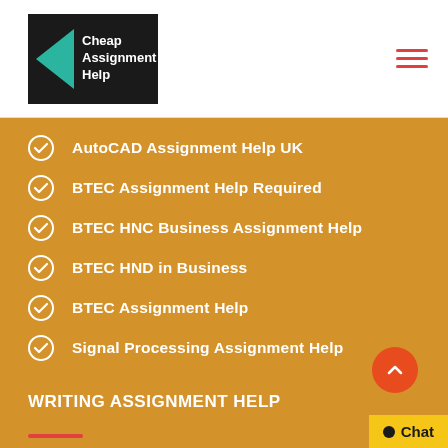[Figure (logo): Cheap Assignment Help logo with teal triangle on black background]
AutoCAD Assignment Help UK
BTEC Assignment Help Required
BTEC HNC Business Assignment Help
BTEC HND in Business
BTEC Assignment Help
Signal Processing Assignment Help
WRITING ASSIGNMENT HELP